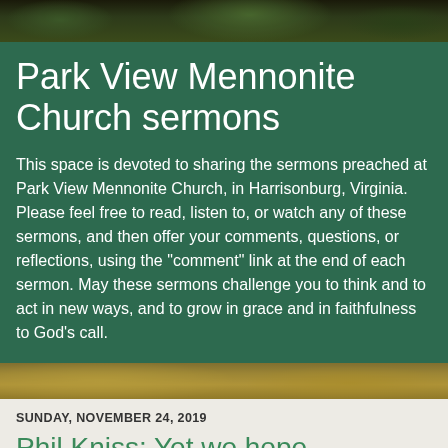Park View Mennonite Church sermons
This space is devoted to sharing the sermons preached at Park View Mennonite Church, in Harrisonburg, Virginia. Please feel free to read, listen to, or watch any of these sermons, and then offer your comments, questions, or reflections, using the "comment" link at the end of each sermon. May these sermons challenge you to think and to act in new ways, and to grow in grace and in faithfulness to God's call.
SUNDAY, NOVEMBER 24, 2019
Phil Kniss: Yet we hope
God's Good Earth: Hope and Healing
Psalm 85:7-13; Isaiah 58:6-7, 10-12; Romans 8:18-25; Luke